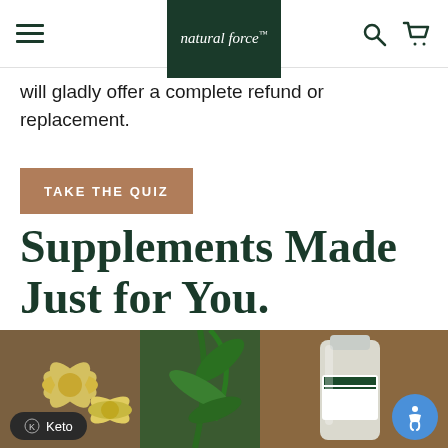natural force® — navigation bar with hamburger menu, logo, search and cart icons
will gladly offer a complete refund or replacement.
TAKE THE QUIZ
Supplements Made Just for You.
[Figure (photo): A lifestyle photo showing a glass bottle of supplement with green label, yellow flowers, and green plants in the background on a dark wooden surface. A 'Keto' badge appears in the lower left corner and an accessibility icon in the lower right.]